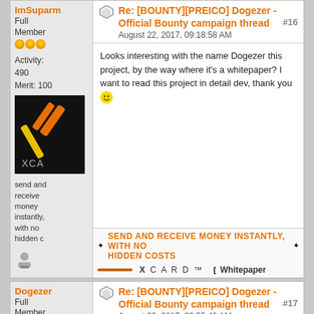ImSuparm
Full Member
Activity: 490
Merit: 100
[Figure (logo): XCard logo on black background with orange and yellow diagonal lines]
send and receive money instantly, with no hidden c
Re: [BOUNTY][PREICO] Dogezer - Official Bounty campaign thread #16
August 22, 2017, 09:18:58 AM
Looks interesting with the name Dogezer this project, by the way where it's a whitepaper? I want to read this project in detail dev, thank you
SEND AND RECEIVE MONEY INSTANTLY, WITH NO HIDDEN COSTS
X C A R D ™
[ Whitepaper
Dogezer
Full Member
Activity: 322
Re: [BOUNTY][PREICO] Dogezer - Official Bounty campaign thread #17
August 22, 2017, 09:55:42 AM
Quote from: ImSuparmin on August 22, 2017, 09:18:58 AM
Looks interesting with the name Dogezer this project, by the way where it's a whitepaper? I want to read this project